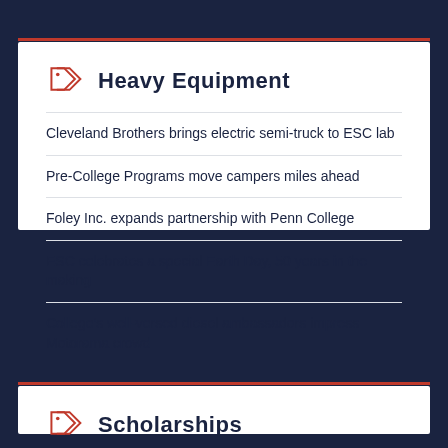Heavy Equipment
Cleveland Brothers brings electric semi-truck to ESC lab
Pre-College Programs move campers miles ahead
Foley Inc. expands partnership with Penn College
ESC celebrates a special Earth Day, 50 years in the making
College's well-versed diesel ambassadors impress Motorama crowd
Scholarships